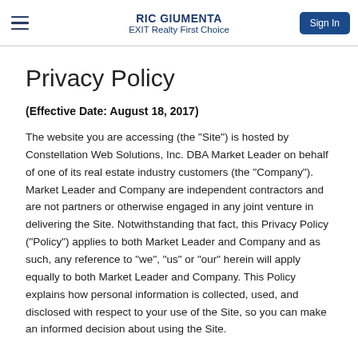RIC GIUMENTA
EXIT Realty First Choice
Privacy Policy
(Effective Date: August 18, 2017)
The website you are accessing (the "Site") is hosted by Constellation Web Solutions, Inc. DBA Market Leader on behalf of one of its real estate industry customers (the "Company"). Market Leader and Company are independent contractors and are not partners or otherwise engaged in any joint venture in delivering the Site. Notwithstanding that fact, this Privacy Policy ("Policy") applies to both Market Leader and Company and as such, any reference to "we", "us" or "our" herein will apply equally to both Market Leader and Company. This Policy explains how personal information is collected, used, and disclosed with respect to your use of the Site, so you can make an informed decision about using the Site.